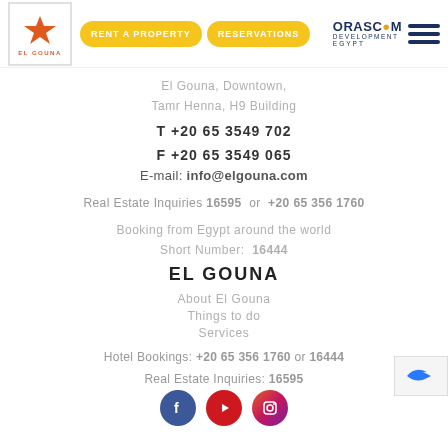RENT A PROPERTY  RESERVATIONS  ORASCOM DEVELOPMENT EGYPT
El Gouna, Downtown,
Tamr Henna, H9 Building
T +20 65 3549 702
F +20 65 3549 065
E-mail: info@elgouna.com
Real Estate Inquiries 16595 or +20 65 356 1760
Booking from Egypt around the world
Short Number: 16444
EL GOUNA
About El Gouna
Things to do
Services
Hotel Bookings: +20 65 356 1760 or 16444
Real Estate Inquiries: 16595
[Figure (other): Social media icons: Facebook, YouTube, Instagram]